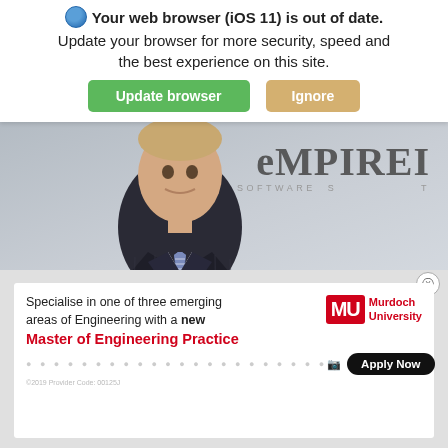Your web browser (iOS 11) is out of date. Update your browser for more security, speed and the best experience on this site.
Update browser | Ignore
By Carrie Bu...
[Figure (photo): Professional photo of a man in a dark pinstripe suit and striped tie standing in front of an EMPIREI Software sign]
[Figure (infographic): Murdoch University advertisement: Specialise in one of three emerging areas of Engineering with a new Master of Engineering Practice. Apply Now button.]